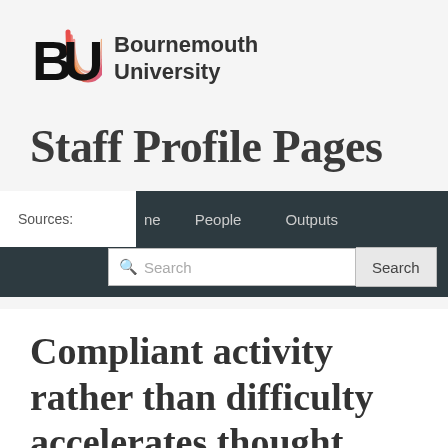[Figure (logo): Bournemouth University logo with BU letters in black and orange/pink gradient and text 'Bournemouth University']
Staff Profile Pages
Sources: | ne | People | Outputs | Search
Compliant activity rather than difficulty accelerates thought